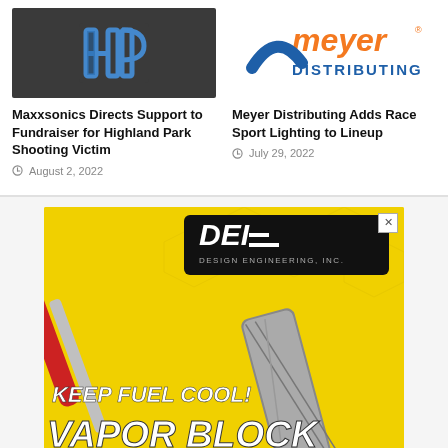[Figure (logo): Highland Park HP blue logo on dark background]
Maxxsonics Directs Support to Fundraiser for Highland Park Shooting Victim
August 2, 2022
[Figure (logo): Meyer Distributing logo - orange text with blue arc design]
Meyer Distributing Adds Race Sport Lighting to Lineup
July 29, 2022
[Figure (photo): Design Engineering Inc advertisement - Keep Fuel Cool! Vapor Block Fuel Line Sleeve on yellow background]